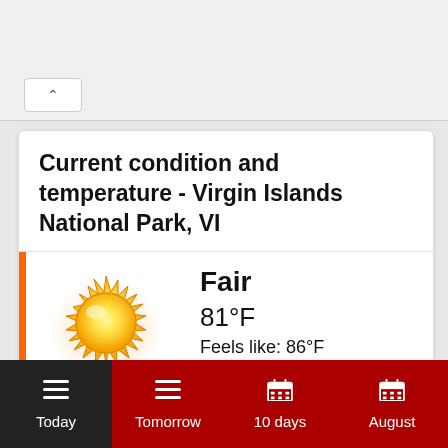Current condition and temperature - Virgin Islands National Park, VI
[Figure (illustration): Sun weather icon — bright yellow-orange sun with pointed rays]
Fair
81°F
Feels like: 86°F
6:32 am AST
Wind: 8mph E
Humidity: 80%
Dewpoint: 73°F
Pressure: 29.94"Hg
Today  Tomorrow  10 days  August